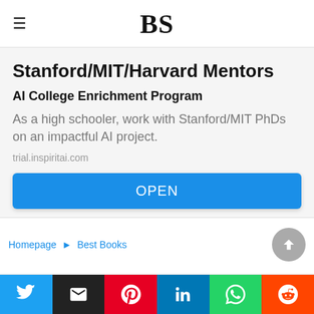BS
Stanford/MIT/Harvard Mentors
AI College Enrichment Program
As a high schooler, work with Stanford/MIT PhDs on an impactful AI project.
trial.inspiritai.com
OPEN
Homepage → Best Books
[Figure (infographic): Social sharing buttons: Twitter, Email, Pinterest, LinkedIn, WhatsApp, Reddit]